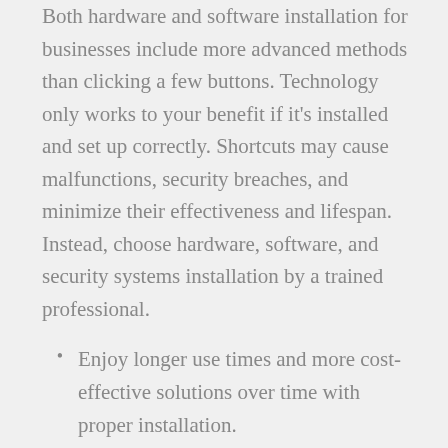Both hardware and software installation for businesses include more advanced methods than clicking a few buttons. Technology only works to your benefit if it's installed and set up correctly. Shortcuts may cause malfunctions, security breaches, and minimize their effectiveness and lifespan. Instead, choose hardware, software, and security systems installation by a trained professional.
Enjoy longer use times and more cost-effective solutions over time with proper installation.
Decrease downtime due to fewer faults, delays, and errors to improve overall productivity.
Avoid chaos and stress because